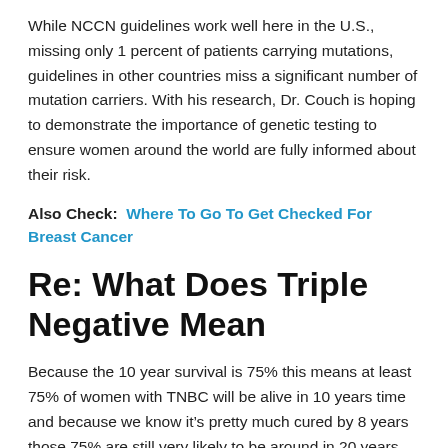While NCCN guidelines work well here in the U.S., missing only 1 percent of patients carrying mutations, guidelines in other countries miss a significant number of mutation carriers. With his research, Dr. Couch is hoping to demonstrate the importance of genetic testing to ensure women around the world are fully informed about their risk.
Also Check: Where To Go To Get Checked For Breast Cancer
Re: What Does Triple Negative Mean
Because the 10 year survival is 75% this means at least 75% of women with TNBC will be alive in 10 years time and because we know it's pretty much cured by 8 years those 75% are still very likely to be around in 20 years time…. But they have now started keeping figures for twenty years, but